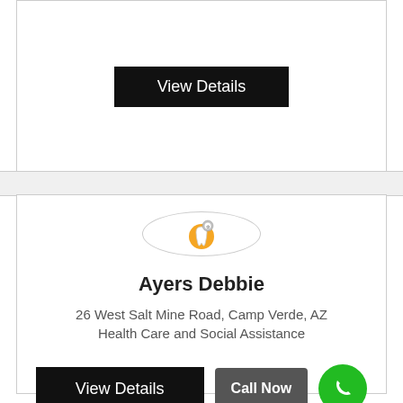[Figure (screenshot): Top card showing a 'View Details' black button on a white card with border]
[Figure (illustration): Dental icon inside a circle — tooth with a gear/stethoscope badge inside a large light gray circle]
Ayers Debbie
26 West Salt Mine Road, Camp Verde, AZ
Health Care and Social Assistance
[Figure (screenshot): Bottom card action buttons: black 'View Details' button, gray 'Call Now' button, and green phone circle icon]